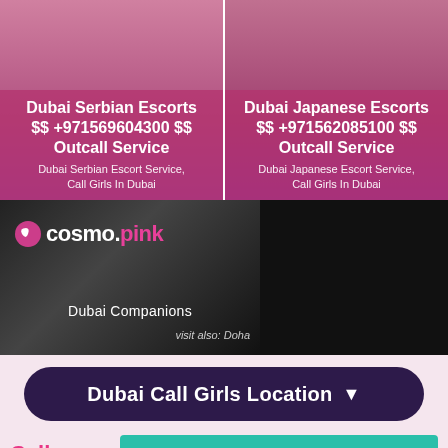[Figure (photo): Two side-by-side escort service advertisement cards with pink/purple overlay backgrounds and female figures]
Dubai Serbian Escorts $$ +971569604300 $$ Outcall Service
Dubai Serbian Escort Service, Call Girls In Dubai
Dubai Japanese Escorts $$ +971562085100 $$ Outcall Service
Dubai Japanese Escort Service, Call Girls In Dubai
[Figure (logo): cosmo.pink Dubai Companions banner with dark background and female silhouette. Text: cosmo.pink, Dubai Companions, visit also: Doha]
Dubai Call Girls Location ▼
Call g...
Click To Chat +971569407105